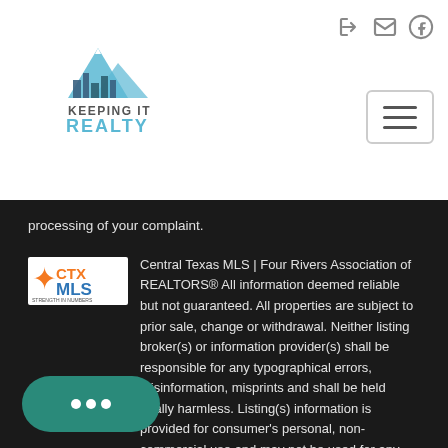[Figure (logo): Keeping It Realty logo with mountain graphic above text]
processing of your complaint.
Central Texas MLS | Four Rivers Association of REALTORS® All information deemed reliable but not guaranteed. All properties are subject to prior sale, change or withdrawal. Neither listing broker(s) or information provider(s) shall be responsible for any typographical errors, misinformation, misprints and shall be held totally harmless. Listing(s) information is provided for consumer's personal, non-commercial use and may not be used for any purpose other than to identify properties   Show More...